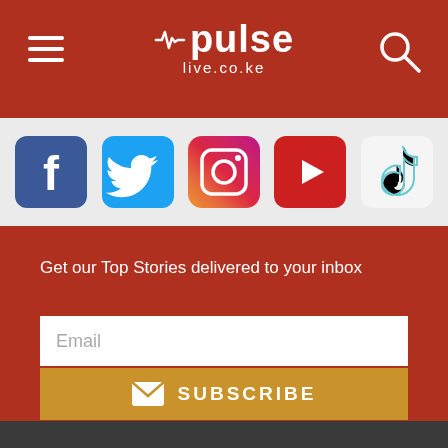pulse live.co.ke
[Figure (screenshot): Social media icons row: Facebook, Twitter, Instagram, YouTube, TikTok]
Get our Top Stories delivered to your inbox
[Figure (screenshot): Email input field with placeholder text 'Email' and a Subscribe button with envelope icon]